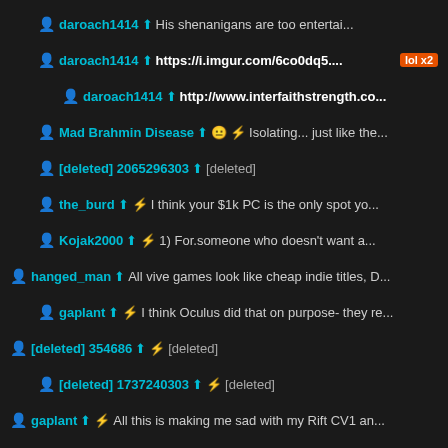daroach1414 ↑ His shenanigans are too entertai...
daroach1414 ↑ https://i.imgur.com/6co0dq5.... [lol x2]
daroach1414 ↑ http://www.interfaithstrength.co...
Mad Brahmin Disease ↑ 😐 ⚡ Isolating... just like the...
[deleted] 2065296303 ↑ [deleted]
the_burd ↑ ⚡ I think your $1k PC is the only spot yo...
Kojak2000 ↑ ⚡ 1) For.someone who doesn't want a...
hanged_man ↑ All vive games look like cheap indie titles, D...
gaplant ↑ ⚡ I think Oculus did that on purpose- they re...
[deleted] 354686 ↑ ⚡ [deleted]
[deleted] 1737240303 ↑ ⚡ [deleted]
gaplant ↑ ⚡ All this is making me sad with my Rift CV1 an...
sethmarc ↑ Great review! Just noticed a typo in the secon...
anhero ↑ ⚡ Asif, did you ever ask vive or rift about my WiF...
anhero ↑ ⚡ briefcase, get out of that subthread and a...